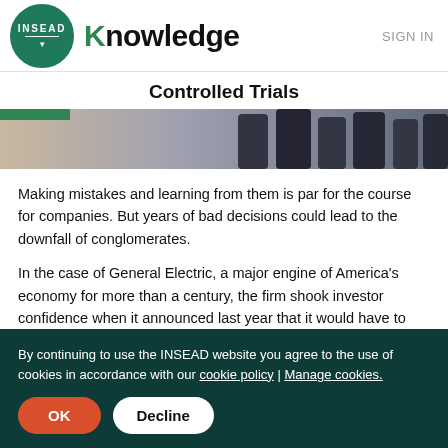[Figure (logo): INSEAD Knowledge logo with green circle containing INSEAD text and Knowledge wordmark]
SIGN IN
Controlled Trials
[Figure (photo): Partial photo showing people in dark clothing, cropped at bottom of image strip]
Making mistakes and learning from them is par for the course for companies. But years of bad decisions could lead to the downfall of conglomerates.
In the case of General Electric, a major engine of America's economy for more than a century, the firm shook investor confidence when it announced last year that it would have to
By continuing to use the INSEAD website you agree to the use of cookies in accordance with our cookie policy | Manage cookies.